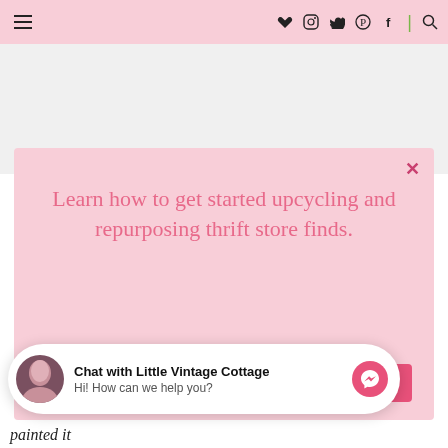Navigation bar with hamburger menu and social icons: heart, Instagram, Twitter, Pinterest, Facebook, divider, search
[Figure (screenshot): Light pink/grey blank content area acting as page background placeholder]
Learn how to get started upcycling and repurposing thrift store finds.
GET THE FREE GUIDE
Chat with Little Vintage Cottage
Hi! How can we help you?
painted it